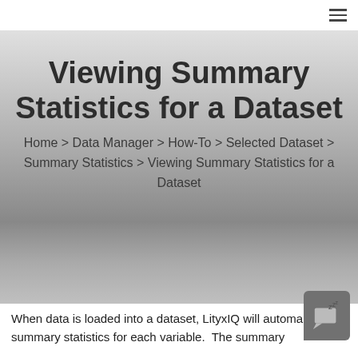☰
Viewing Summary Statistics for a Dataset
Home > Data Manager > How-To > Selected Dataset > Summary Statistics > Viewing Summary Statistics for a Dataset
When data is loaded into a dataset, LityxIQ will automa... create summary statistics for each variable.  The summary